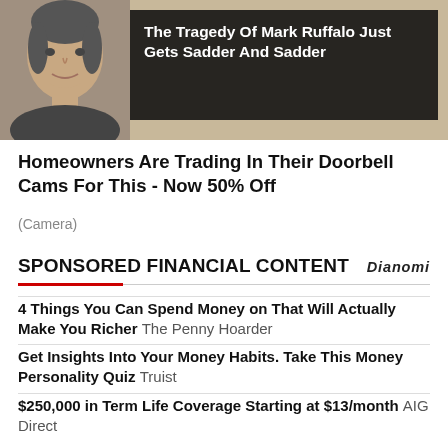[Figure (photo): Ad banner with a man's headshot on a tan/beige background and dark overlay text reading 'The Tragedy Of Mark Ruffalo Just Gets Sadder And Sadder']
Homeowners Are Trading In Their Doorbell Cams For This - Now 50% Off
(Camera)
SPONSORED FINANCIAL CONTENT
4 Things You Can Spend Money on That Will Actually Make You Richer The Penny Hoarder
Get Insights Into Your Money Habits. Take This Money Personality Quiz Truist
$250,000 in Term Life Coverage Starting at $13/month AIG Direct
Welcome to the future of industry and the Fourth Industrial Revolution Aramco
Motley Fool Issues Rare "All In" Buy Alert The Motley Fool